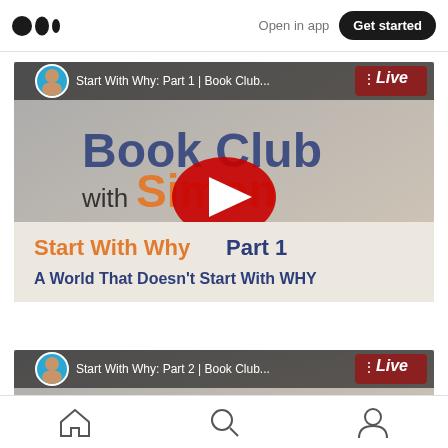Medium app header with logo, Open in app, Get started button
[Figure (screenshot): YouTube video thumbnail for 'Start With Why: Part 1 | Book Club...' showing Book Club with Simon Sinek branding, red YouTube play button, title text 'Start With Why Part 1 - A World That Doesn't Start With WHY', Live badge]
[Figure (screenshot): YouTube video thumbnail for 'Start With Why: Part 2 | Book Club...' partially visible at bottom of page]
Bottom navigation bar with home, search, and profile icons